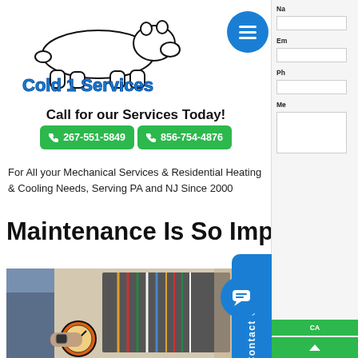[Figure (logo): Cold 1 Services logo with polar bear silhouette and stylized blue text]
Call for our Services Today!
267-551-5849   856-754-4876
For All your Mechanical Services & Residential Heating & Cooling Needs, Serving PA and NJ Since 2000
Maintenance Is So Important
[Figure (photo): HVAC technician working on mechanical equipment with gauges and wiring visible]
Na
Em
Ph
Me
CA